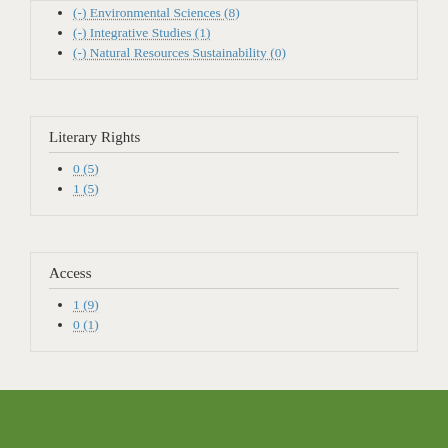(-) Environmental Sciences (8)
(-) Integrative Studies (1)
(-) Natural Resources Sustainability (0)
Literary Rights
0 (5)
1 (5)
Access
1 (9)
0 (1)